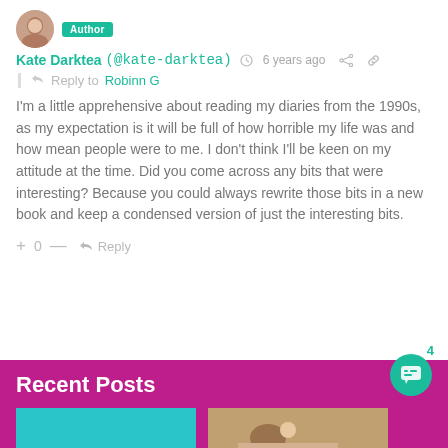Kate Darktea (@kate-darktea) · 6 years ago
Reply to Robinn G
I'm a little apprehensive about reading my diaries from the 1990s, as my expectation is it will be full of how horrible my life was and how mean people were to me. I don't think I'll be keen on my attitude at the time. Did you come across any bits that were interesting? Because you could always rewrite those bits in a new book and keep a condensed version of just the interesting bits.
+ 0 — Reply
Recent Posts